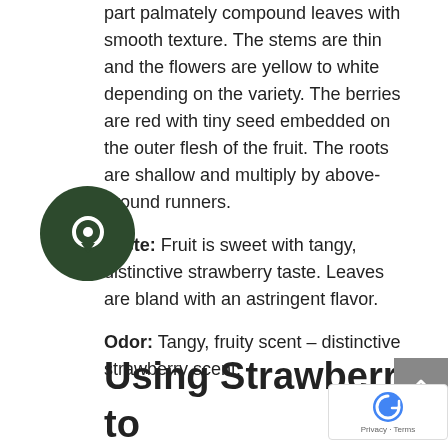Appearance: Basal rosette of finely toothed, three part palmately compound leaves with smooth texture. The stems are thin and the flowers are yellow to white depending on the variety. The berries are red with tiny seed embedded on the outer flesh of the fruit. The roots are shallow and multiply by above-ground runners.
Taste: Fruit is sweet with tangy, distinctive strawberry taste. Leaves are bland with an astringent flavor.
Odor: Tangy, fruity scent – distinctive strawberry scent.
Using Strawberry to